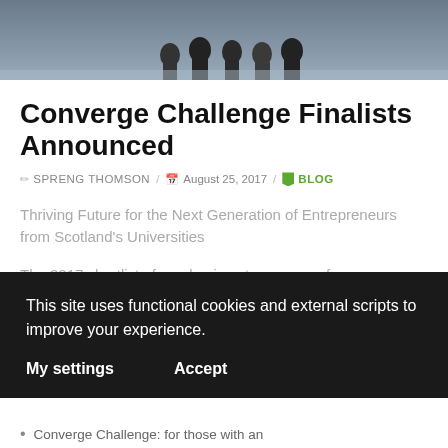[Figure (photo): Photo strip showing people standing, partially cropped at the top of the page]
Converge Challenge Finalists Announced
✏ SPRENG THOMSON / 📅 August 25, 2017 / 🏷 BLOG
Thriving Future for the Next Generation of Entrepreneurs from Scotland's Universities
The 2017 shortlist of academic entrepreneurs for
This site uses functional cookies and external scripts to improve your experience.
My settings   Accept
Converge Challenge: for those with an